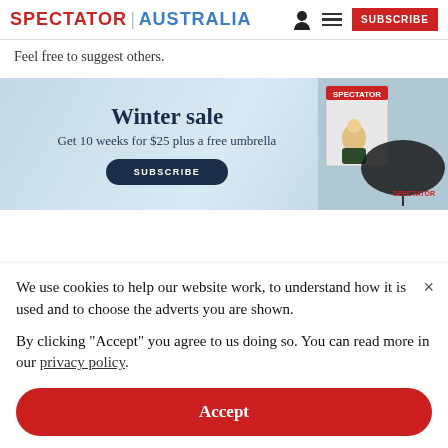SPECTATOR | AUSTRALIA  [person icon] [menu icon]  SUBSCRIBE
Feel free to suggest others.
[Figure (infographic): Winter sale advertisement banner: 'Winter sale / Get 10 weeks for $25 plus a free umbrella / SUBSCRIBE button' with Spectator magazine cover and umbrella image on right]
We use cookies to help our website work, to understand how it is used and to choose the adverts you are shown.

By clicking "Accept" you agree to us doing so. You can read more in our privacy policy.
Accept